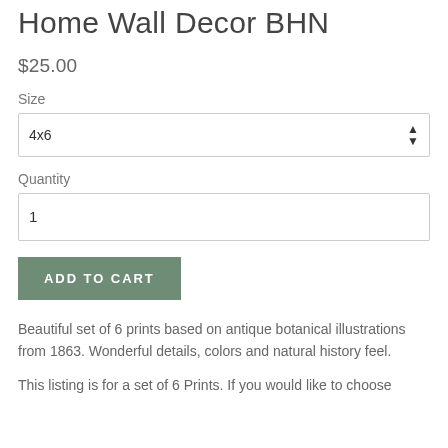Home Wall Decor BHN
$25.00
Size
4x6
Quantity
1
ADD TO CART
Beautiful set of 6 prints based on antique botanical illustrations from 1863. Wonderful details, colors and natural history feel.
This listing is for a set of 6 Prints. If you would like to choose